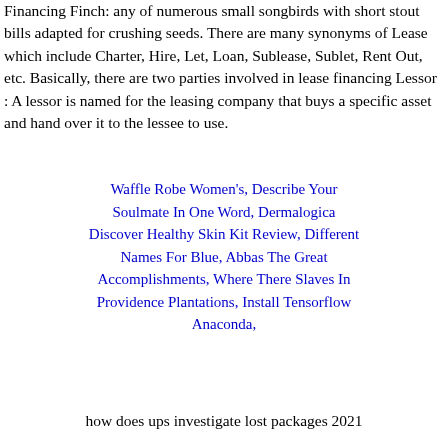Financing Finch: any of numerous small songbirds with short stout bills adapted for crushing seeds. There are many synonyms of Lease which include Charter, Hire, Let, Loan, Sublease, Sublet, Rent Out, etc. Basically, there are two parties involved in lease financing Lessor : A lessor is named for the leasing company that buys a specific asset and hand over it to the lessee to use.
Waffle Robe Women's, Describe Your Soulmate In One Word, Dermalogica Discover Healthy Skin Kit Review, Different Names For Blue, Abbas The Great Accomplishments, Where There Slaves In Providence Plantations, Install Tensorflow Anaconda,
how does ups investigate lost packages 2021